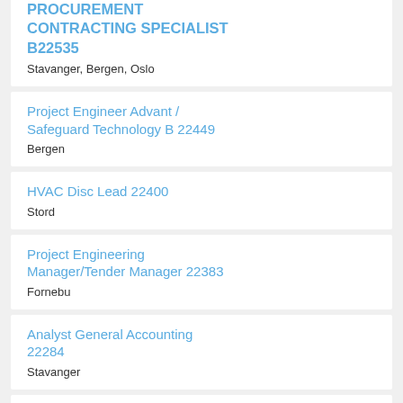PROCUREMENT CONTRACTING SPECIALIST B22535
Stavanger, Bergen, Oslo
Project Engineer Advant / Safeguard Technology B 22449
Bergen
HVAC Disc Lead 22400
Stord
Project Engineering Manager/Tender Manager 22383
Fornebu
Analyst General Accounting 22284
Stavanger
Senior Ingeniør/PRE Mekanisk -